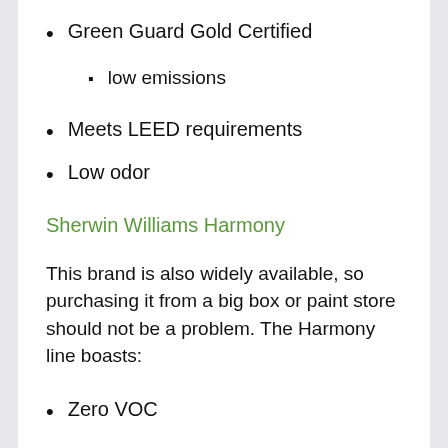Green Guard Gold Certified
low emissions
Meets LEED requirements
Low odor
Sherwin Williams Harmony
This brand is also widely available, so purchasing it from a big box or paint store should not be a problem. The Harmony line boasts:
Zero VOC